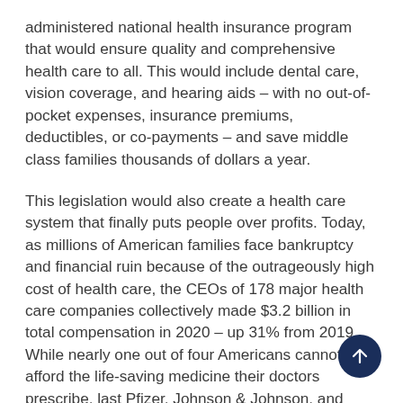administered national health insurance program that would ensure quality and comprehensive health care to all. This would include dental care, vision coverage, and hearing aids – with no out-of-pocket expenses, insurance premiums, deductibles, or co-payments – and save middle class families thousands of dollars a year.
This legislation would also create a health care system that finally puts people over profits. Today, as millions of American families face bankruptcy and financial ruin because of the outrageously high cost of health care, the CEOs of 178 major health care companies collectively made $3.2 billion in total compensation in 2020 – up 31% from 2019. While nearly one out of four Americans cannot afford the life-saving medicine their doctors prescribe, last Pfizer, Johnson & Johnson, and AbbVie – three giant pharmaceutical companies – increased their profits